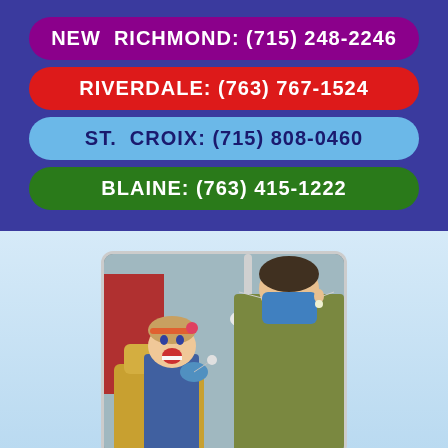NEW RICHMOND: (715) 248-2246
RIVERDALE: (763) 767-1524
ST. CROIX: (715) 808-0460
BLAINE: (763) 415-1222
[Figure (photo): A young girl sitting in a dental chair with her mouth open being examined by a masked female dentist wearing blue gloves]